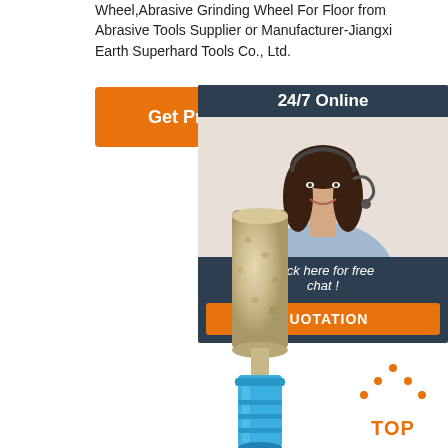Wheel,Abrasive Grinding Wheel For Floor from Abrasive Tools Supplier or Manufacturer-Jiangxi Earth Superhard Tools Co., Ltd.
[Figure (other): Orange 'Get Price' button]
[Figure (other): 24/7 Online chat widget with customer service agent photo and 'Click here for free chat! QUOTATION' button]
[Figure (photo): Product photo of a diamond abrasive grinding bit with tan/beige abrasive cylinder top and blue holder base]
[Figure (other): Orange 'TOP' badge with decorative dots arrow pointing up]